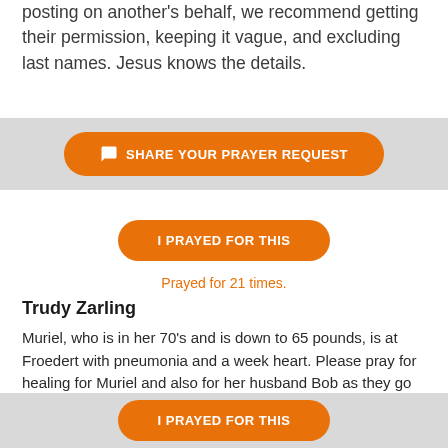posting on another's behalf, we recommend getting their permission, keeping it vague, and excluding last names. Jesus knows the details.
[Figure (other): Orange rounded button with chat icon reading 'SHARE YOUR PRAYER REQUEST' on a light gray background banner]
[Figure (other): Orange rounded button reading 'I PRAYED FOR THIS']
Prayed for 21 times.
Trudy Zarling
Muriel, who is in her 70's and is down to 65 pounds, is at Froedert with pneumonia and a week heart. Please pray for healing for Muriel and also for her husband Bob as they go through this.
Received: May 19, 2022
[Figure (other): Orange rounded button reading 'I PRAYED FOR THIS' on a light gray background banner at bottom of page]